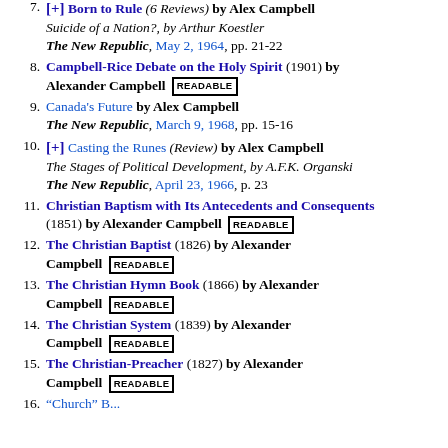7. [+] Born to Rule (6 Reviews) by Alex Campbell — Suicide of a Nation?, by Arthur Koestler — The New Republic, May 2, 1964, pp. 21-22
8. Campbell-Rice Debate on the Holy Spirit (1901) by Alexander Campbell READABLE
9. Canada's Future by Alex Campbell — The New Republic, March 9, 1968, pp. 15-16
10. [+] Casting the Runes (Review) by Alex Campbell — The Stages of Political Development, by A.F.K. Organski — The New Republic, April 23, 1966, p. 23
11. Christian Baptism with Its Antecedents and Consequents (1851) by Alexander Campbell READABLE
12. The Christian Baptist (1826) by Alexander Campbell READABLE
13. The Christian Hymn Book (1866) by Alexander Campbell READABLE
14. The Christian System (1839) by Alexander Campbell READABLE
15. The Christian-Preacher (1827) by Alexander Campbell READABLE
16. [truncated]